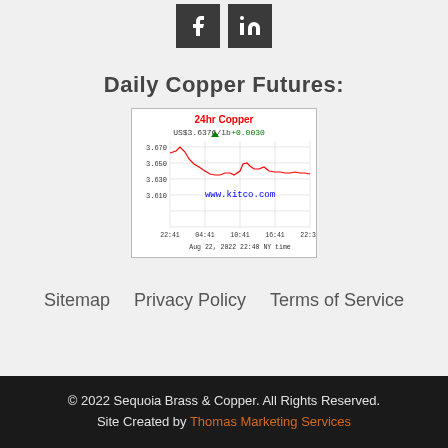[Figure (other): Facebook and LinkedIn social media icon buttons, dark square backgrounds with white f and in logos]
Daily Copper Futures:
[Figure (continuous-plot): 24hr Copper price chart from kitco.com showing US$3.6376/lb +0.0030 with a red line chart tracking copper prices from 22:41 to 22:39 on Aug 22, 2022 22:40 NY time. Y-axis shows values from 3.610 to 3.670. Price line starts around 3.670, drops to around 3.630, peaks briefly near 3.645, then stabilizes around 3.632.]
Sitemap    Privacy Policy    Terms of Service
© 2022 Sequoia Brass & Copper. All Rights Reserved. Site Created by Thomas Marketing Services